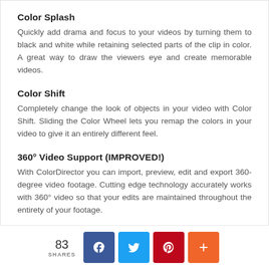Color Splash
Quickly add drama and focus to your videos by turning them to black and white while retaining selected parts of the clip in color. A great way to draw the viewers eye and create memorable videos.
Color Shift
Completely change the look of objects in your video with Color Shift. Sliding the Color Wheel lets you remap the colors in your video to give it an entirely different feel.
360° Video Support (IMPROVED!)
With ColorDirector you can import, preview, edit and export 360-degree video footage. Cutting edge technology accurately works with 360° video so that your edits are maintained throughout the entirety of your footage.
Round-trip Editing with PowerDirector
83 SHARES